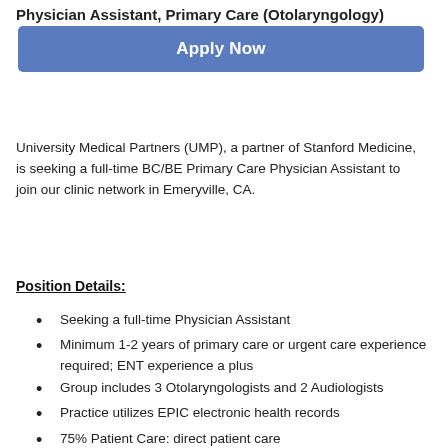Physician Assistant, Primary Care (Otolaryngology)
Apply Now
University Medical Partners (UMP), a partner of Stanford Medicine, is seeking a full-time BC/BE Primary Care Physician Assistant to join our clinic network in Emeryville, CA.
Position Details:
Seeking a full-time Physician Assistant
Minimum 1-2 years of primary care or urgent care experience required; ENT experience a plus
Group includes 3 Otolaryngologists and 2 Audiologists
Practice utilizes EPIC electronic health records
75% Patient Care: direct patient care
25% Support: In direct patient care, RX refills,